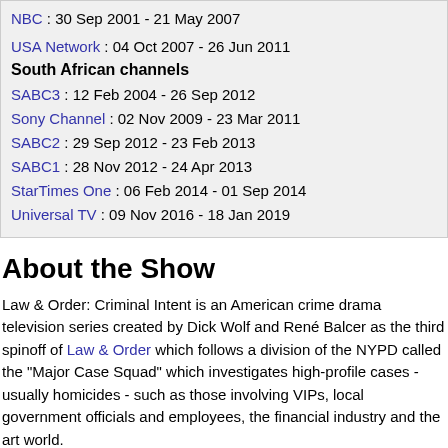NBC : 30 Sep 2001 - 21 May 2007
USA Network : 04 Oct 2007 - 26 Jun 2011
South African channels
SABC3 : 12 Feb 2004 - 26 Sep 2012
Sony Channel : 02 Nov 2009 - 23 Mar 2011
SABC2 : 29 Sep 2012 - 23 Feb 2013
SABC1 : 28 Nov 2012 - 24 Apr 2013
StarTimes One : 06 Feb 2014 - 01 Sep 2014
Universal TV : 09 Nov 2016 - 18 Jan 2019
About the Show
Law & Order: Criminal Intent is an American crime drama television series created by Dick Wolf and René Balcer as the third spinoff of Law & Order which follows a division of the NYPD called the "Major Case Squad" which investigates high-profile cases - usually homicides - such as those involving VIPs, local government officials and employees, the financial industry and the art world.
Vincent D'Onofrio stars as Det. Robert Goren, an exceptionally bright homicide investigator with well-honed instincts that match up favourably with his criminal quarry.